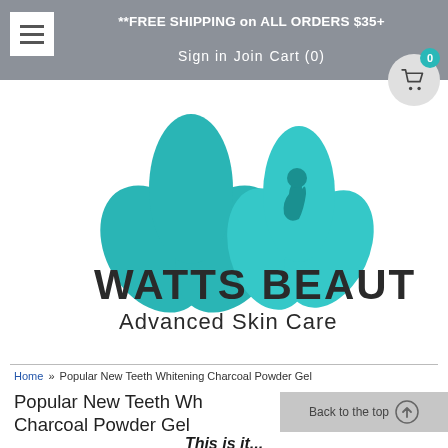**FREE SHIPPING on ALL ORDERS $35+
Sign in   Join   Cart (0)
[Figure (logo): Watts Beauty Advanced Skin Care logo with teal lotus flower and woman silhouette]
Home » Popular New Teeth Whitening Charcoal Powder Gel
Popular New Teeth Whitening Charcoal Powder Gel
This is it...